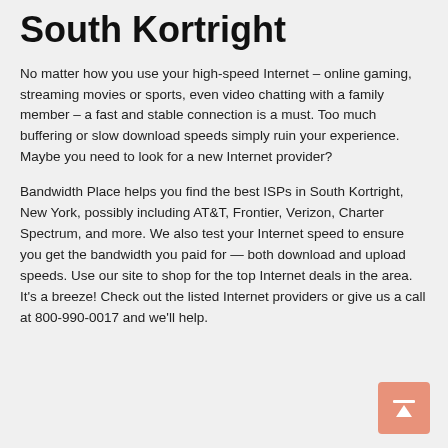South Kortright
No matter how you use your high-speed Internet – online gaming, streaming movies or sports, even video chatting with a family member – a fast and stable connection is a must. Too much buffering or slow download speeds simply ruin your experience. Maybe you need to look for a new Internet provider?
Bandwidth Place helps you find the best ISPs in South Kortright, New York, possibly including AT&T, Frontier, Verizon, Charter Spectrum, and more. We also test your Internet speed to ensure you get the bandwidth you paid for — both download and upload speeds. Use our site to shop for the top Internet deals in the area. It's a breeze! Check out the listed Internet providers or give us a call at 800-990-0017 and we'll help.